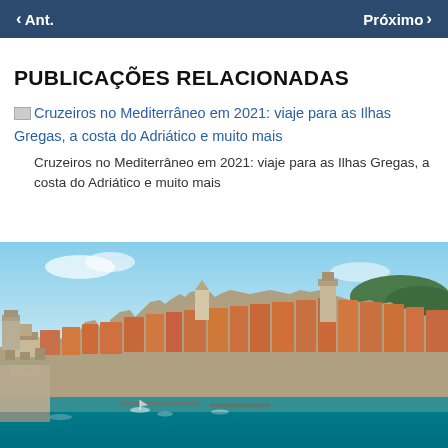Ant.   Próximo
PUBLICAÇÕES RELACIONADAS
Cruzeiros no Mediterrâneo em 2021: viaje para as Ilhas Gregas, a costa do Adriático e muito mais
Cruzeiros no Mediterrâneo em 2021: viaje para as Ilhas Gregas, a costa do Adriático e muito mais
[Figure (photo): Aerial view of Dubrovnik old town with orange rooftops, stone fortifications, and turquoise Adriatic Sea]